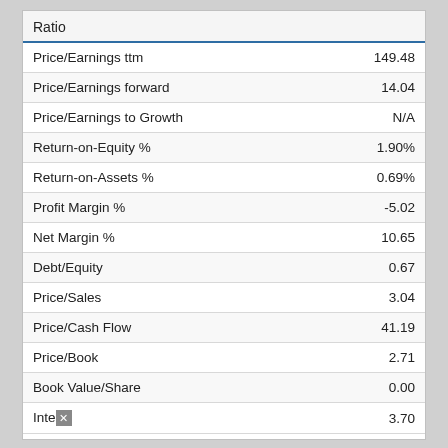| Ratio |  |
| --- | --- |
| Price/Earnings ttm | 149.48 |
| Price/Earnings forward | 14.04 |
| Price/Earnings to Growth | N/A |
| Return-on-Equity % | 1.90% |
| Return-on-Assets % | 0.69% |
| Profit Margin % | -5.02 |
| Net Margin % | 10.65 |
| Debt/Equity | 0.67 |
| Price/Sales | 3.04 |
| Price/Cash Flow | 41.19 |
| Price/Book | 2.71 |
| Book Value/Share | 0.00 |
| Inte | 3.70 |